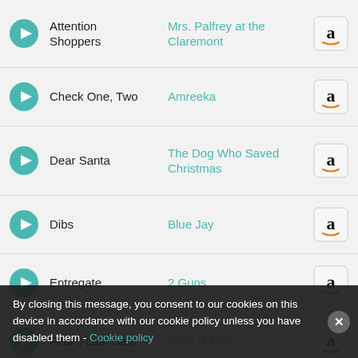Attention Shoppers | Mrs. Palfrey at the Claremont
Check One, Two | Amreeka
Dear Santa | The Dog Who Saved Christmas
Dibs | Blue Jay
Entregate | 2 Guns
Fear's Last Step | Balls of Fury
Joy To The World | The Dog Who Saved ...
... | La casa de papel
By closing this message, you consent to our cookies on this device in accordance with our cookie policy unless you have disabled them - Cookie policy